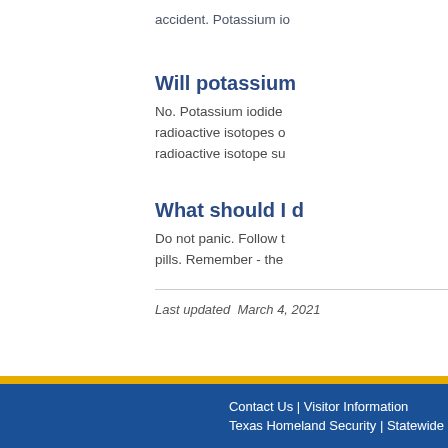accident. Potassium io
Will potassium
No. Potassium iodide radioactive isotopes o radioactive isotope su
What should I d
Do not panic. Follow t pills. Remember - the
Last updated  March 4, 2021
Contact Us | Visitor Information
Texas Homeland Security | Statewide